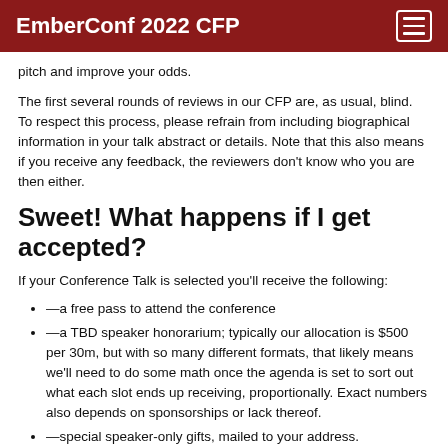EmberConf 2022 CFP
pitch and improve your odds.
The first several rounds of reviews in our CFP are, as usual, blind. To respect this process, please refrain from including biographical information in your talk abstract or details. Note that this also means if you receive any feedback, the reviewers don't know who you are then either.
Sweet! What happens if I get accepted?
If your Conference Talk is selected you'll receive the following:
—a free pass to attend the conference
—a TBD speaker honorarium; typically our allocation is $500 per 30m, but with so many different formats, that likely means we'll need to do some math once the agenda is set to sort out what each slot ends up receiving, proportionally. Exact numbers also depends on sponsorships or lack thereof.
—special speaker-only gifts, mailed to your address.